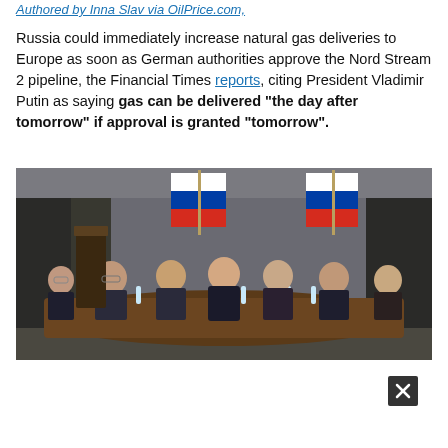Authored by Inna Slav via OilPrice.com,
Russia could immediately increase natural gas deliveries to Europe as soon as German authorities approve the Nord Stream 2 pipeline, the Financial Times reports, citing President Vladimir Putin as saying gas can be delivered “the day after tomorrow” if approval is granted “tomorrow”.
[Figure (photo): President Vladimir Putin seated at the head of a conference table with several officials on either side, Russian flags visible in the background in what appears to be an official government meeting room.]